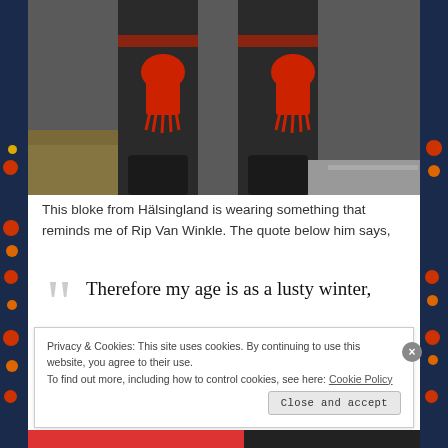[Figure (photo): Photo of a person from Hälsingland wearing traditional folk costume with black clothing and red tassels/decorations. Only the lower body is visible — legs and waist area with distinctive red tassel ornaments.]
This bloke from Hälsingland is wearing something that reminds me of Rip Van Winkle. The quote below him says,
Therefore my age is as a lusty winter, Frosty, but kindly.
Privacy & Cookies: This site uses cookies. By continuing to use this website, you agree to their use.
To find out more, including how to control cookies, see here: Cookie Policy
Close and accept